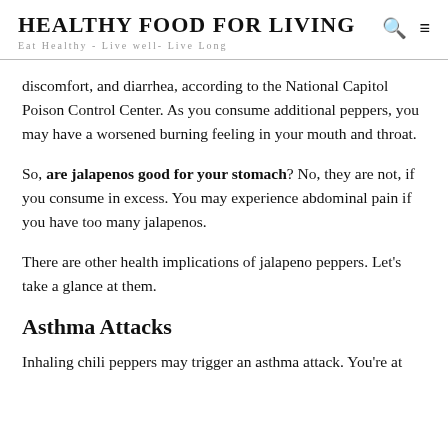HEALTHY FOOD FOR LIVING
Eat Healthy - Live well- Live Long
discomfort, and diarrhea, according to the National Capitol Poison Control Center. As you consume additional peppers, you may have a worsened burning feeling in your mouth and throat.
So, are jalapenos good for your stomach? No, they are not, if you consume in excess. You may experience abdominal pain if you have too many jalapenos.
There are other health implications of jalapeno peppers. Let’s take a glance at them.
Asthma Attacks
Inhaling chili peppers may trigger an asthma attack. You’re at